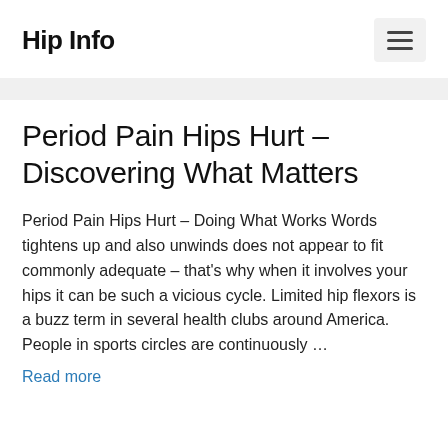Hip Info
Period Pain Hips Hurt – Discovering What Matters
Period Pain Hips Hurt – Doing What Works Words tightens up and also unwinds does not appear to fit commonly adequate – that's why when it involves your hips it can be such a vicious cycle. Limited hip flexors is a buzz term in several health clubs around America. People in sports circles are continuously …
Read more